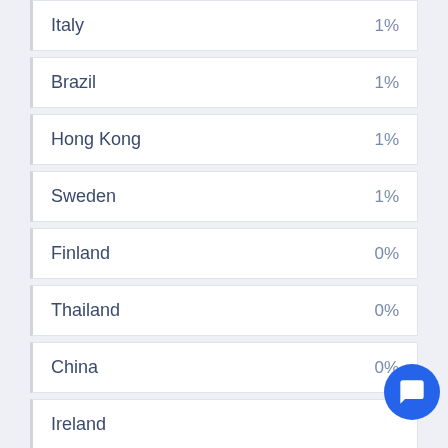| Country | Percentage |
| --- | --- |
| Italy | 1% |
| Brazil | 1% |
| Hong Kong | 1% |
| Sweden | 1% |
| Finland | 0% |
| Thailand | 0% |
| China | 0% |
| Ireland |  |
| Denmark | 0% |